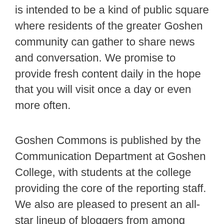is intended to be a kind of public square where residents of the greater Goshen community can gather to share news and conversation. We promise to provide fresh content daily in the hope that you will visit once a day or even more often.
Goshen Commons is published by the Communication Department at Goshen College, with students at the college providing the core of the reporting staff. We also are pleased to present an all-star lineup of bloggers from among your friends and neighbors.
While we intend to selectively cover news